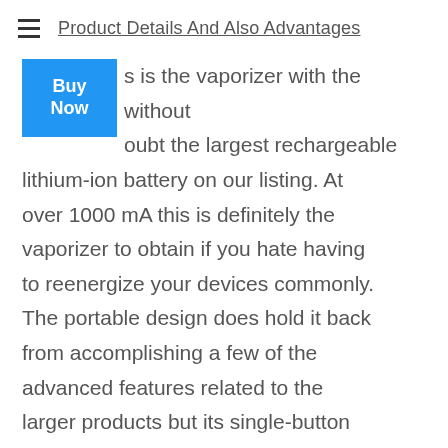Product Details And Also Advantages
[Figure (other): Blue 'Buy Now' button overlaid on text]
This is the vaporizer with the without doubt the largest rechargeable lithium-ion battery on our listing. At over 1000 mA this is definitely the vaporizer to obtain if you hate having to reenergize your devices commonly. The portable design does hold it back from accomplishing a few of the advanced features related to the larger products but its single-button procedure is wonderful for the minimalists that love ceramic coils so